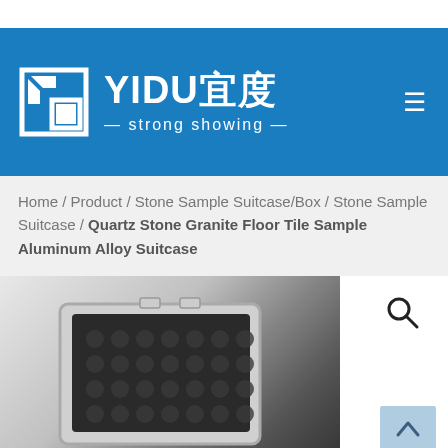[Figure (logo): YIDU 宜度 company logo with blue background, white square geometric logo mark on left, large bold white text 'YIDU宜度' and subtitle '— strong showing —', hamburger menu icon on right]
Home / Product / Stone Sample Suitcase/Box / Stone Sample Suitcase / Quartz Stone Granite Floor Tile Sample Aluminum Alloy Suitcase
[Figure (photo): Open aluminum alloy suitcase with black foam padding interior, silver frame, viewed from above at an angle]